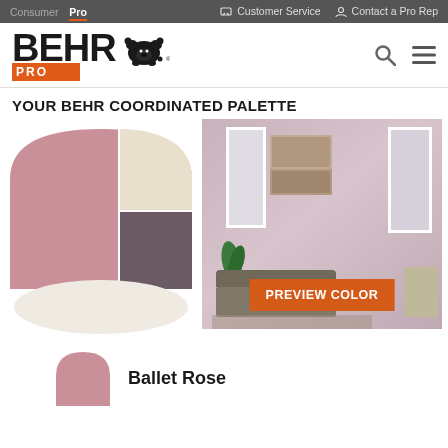Consumer | Pro | Customer Service | Contact a Pro Rep
[Figure (logo): BEHR PRO logo with bear icon]
YOUR BEHR COORDINATED PALETTE
[Figure (illustration): Color palette fan/arch swatch showing Ballet Rose (dusty rose/mauve), cream/beige, dark purple-grey, and off-white bottom]
[Figure (photo): Room preview photo showing a living room with Ballet Rose pink walls, white windows, wall art, sofa, plant, and a PREVIEW COLOR button overlay]
Ballet Rose